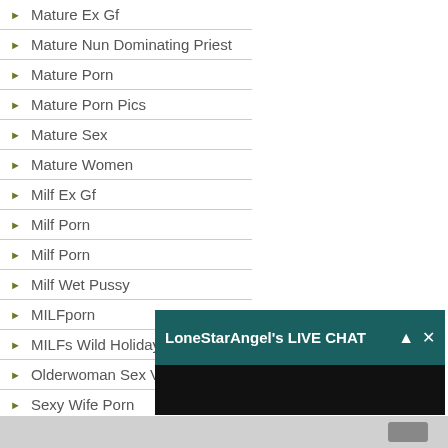Mature Ex Gf
Mature Nun Dominating Priest
Mature Porn
Mature Porn Pics
Mature Sex
Mature Women
Milf Ex Gf
Milf Porn
Milf Porn
Milf Wet Pussy
MILFporn
MILFs Wild Holiday
Olderwoman Sex Videos
Sexy Wife Porn
Siti Porno
Slut Wife
Wife Videos
LoneStarAngel's LIVE CHAT